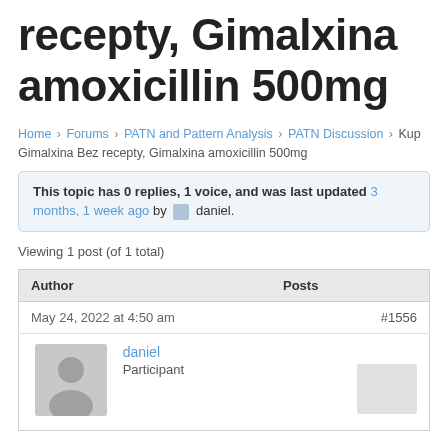recepty, Gimalxina amoxicillin 500mg
Home › Forums › PATN and Pattern Analysis › PATN Discussion › Kup Gimalxina Bez recepty, Gimalxina amoxicillin 500mg
This topic has 0 replies, 1 voice, and was last updated 3 months, 1 week ago by daniel.
Viewing 1 post (of 1 total)
| Author | Posts |
| --- | --- |
| May 24, 2022 at 4:50 am | #1556 |
| daniel
Participant |  |